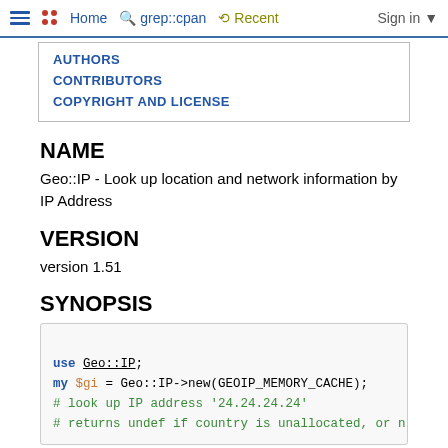Home  grep::cpan  Recent  Sign in
AUTHORS
CONTRIBUTORS
COPYRIGHT AND LICENSE
NAME
Geo::IP - Look up location and network information by IP Address
VERSION
version 1.51
SYNOPSIS
use Geo::IP;
my $gi = Geo::IP->new(GEOIP_MEMORY_CACHE);
# look up IP address '24.24.24.24'
# returns undef if country is unallocated, or n